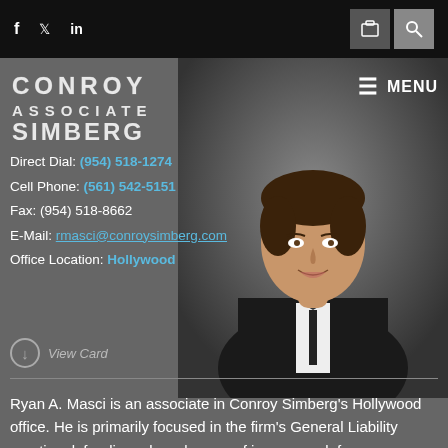f  Twitter  in  [briefcase icon]  [search icon]
[Figure (logo): Conroy Associate Simberg law firm logo in white text]
≡ MENU
[Figure (photo): Portrait photo of Ryan A. Masci, young man in dark suit and tie, smiling, against gray background]
Direct Dial: (954) 518-1274
Cell Phone: (561) 542-5151
Fax: (954) 518-8662
E-Mail: rmasci@conroysimberg.com
Office Location: Hollywood
View Card
Ryan A. Masci is an associate in Conroy Simberg's Hollywood office. He is primarily focused in the firm's General Liability practice defending a broad range of insurance defense cases ranging from automobile